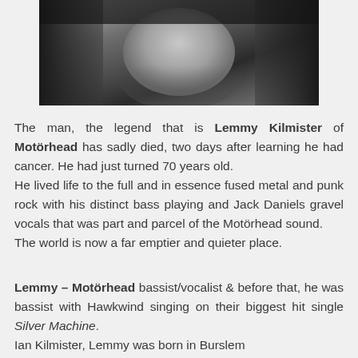[Figure (photo): Black and white photograph of Lemmy Kilmister with long dark hair and facial hair, appearing to have a cigarette in his mouth, wearing dark clothing]
The man, the legend that is Lemmy Kilmister of Motörhead has sadly died, two days after learning he had cancer. He had just turned 70 years old.
He lived life to the full and in essence fused metal and punk rock with his distinct bass playing and Jack Daniels gravel vocals that was part and parcel of the Motörhead sound.
The world is now a far emptier and quieter place.
Lemmy – Motörhead bassist/vocalist & before that, he was bassist with Hawkwind singing on their biggest hit single Silver Machine.
Ian Kilmister, Lemmy was born in Burslem